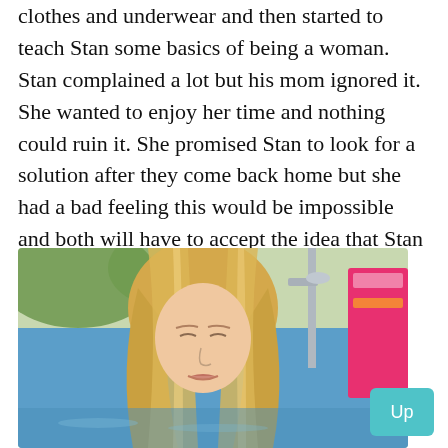clothes and underwear and then started to teach Stan some basics of being a woman. Stan complained a lot but his mom ignored it. She wanted to enjoy her time and nothing could ruin it. She promised Stan to look for a solution after they come back home but she had a bad feeling this would be impossible and both will have to accept the idea that Stan is a grown up woman.
[Figure (photo): A blonde woman with long hair looking down, outdoors near a pool with a shower fixture and colorful background visible.]